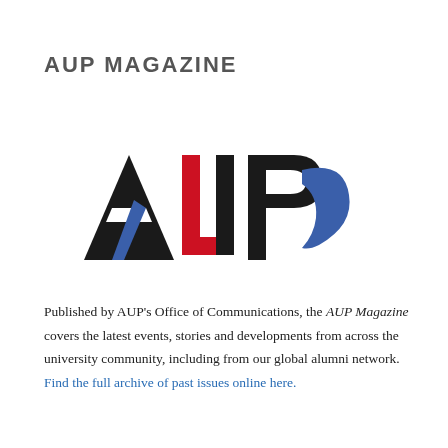AUP MAGAZINE
[Figure (logo): AUP logo with stylized letters A, U, P in black, red/blue, and blue swoosh respectively]
Published by AUP's Office of Communications, the AUP Magazine covers the latest events, stories and developments from across the university community, including from our global alumni network. Find the full archive of past issues online here.